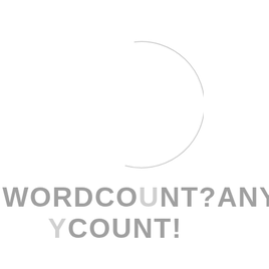[Figure (illustration): A thin-stroked light gray circle outline, slightly open at the bottom, centered horizontally in the upper portion of the page.]
WORDCOUNT?ANYCOUNT!